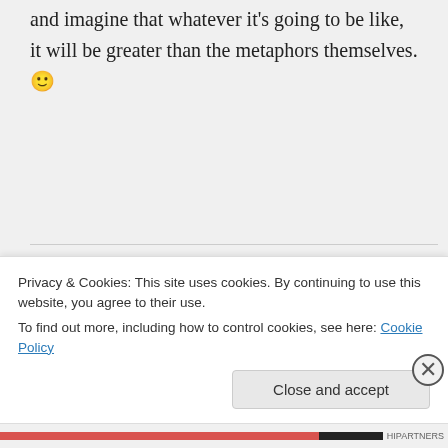and imagine that whatever it's going to be like, it will be greater than the metaphors themselves. 🙂
Larry on October 22, 2012 at 4:28 pm
David, thank you for taking the time to try and explain
Privacy & Cookies: This site uses cookies. By continuing to use this website, you agree to their use.
To find out more, including how to control cookies, see here: Cookie Policy
Close and accept